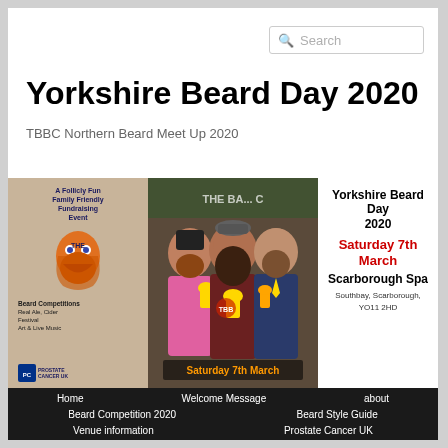Search
Yorkshire Beard Day 2020
TBBC Northern Beard Meet Up 2020
[Figure (photo): Banner image for Yorkshire Beard Day 2020 showing three bearded men holding trophies, with event details: Saturday 7th March, Scarborough Spa, Southbay, Scarborough, YO11 2HD. Left panel lists: A Follicly Fun Family Friendly Fundraising Event, Beard Competitions, Real Ale, Cider Festival, Art & Live Music, Prostate Cancer UK. Center shows Saturday 7th March badge. Right panel shows Yorkshire Beard Day 2020 text with date and venue.]
Home
Welcome Message
about
Beard Competition 2020
Beard Style Guide
Venue information
Prostate Cancer UK
Beer Festival
Contact Us